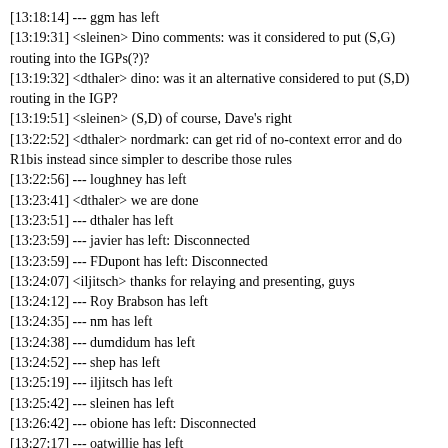[13:18:14] --- ggm has left
[13:19:31] <sleinen> Dino comments: was it considered to put (S,G) routing into the IGPs(?)?
[13:19:32] <dthaler> dino: was it an alternative considered to put (S,D) routing in the IGP?
[13:19:51] <sleinen> (S,D) of course, Dave's right
[13:22:52] <dthaler> nordmark: can get rid of no-context error and do R1bis instead since simpler to describe those rules
[13:22:56] --- loughney has left
[13:23:41] <dthaler> we are done
[13:23:51] --- dthaler has left
[13:23:59] --- javier has left: Disconnected
[13:23:59] --- FDupont has left: Disconnected
[13:24:07] <iljitsch> thanks for relaying and presenting, guys
[13:24:12] --- Roy Brabson has left
[13:24:35] --- nm has left
[13:24:38] --- dumdidum has left
[13:24:52] --- shep has left
[13:25:19] --- iljitsch has left
[13:25:42] --- sleinen has left
[13:26:42] --- obione has left: Disconnected
[13:27:17] --- oatwillie has left
[13:27:19] --- Yoshifumi Atarashi has become available
[13:27:23] --- cabo--tzi--org has left
[13:29:39] --- kivinen has left